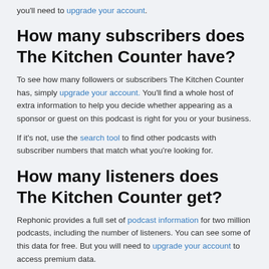you'll need to upgrade your account.
How many subscribers does The Kitchen Counter have?
To see how many followers or subscribers The Kitchen Counter has, simply upgrade your account. You'll find a whole host of extra information to help you decide whether appearing as a sponsor or guest on this podcast is right for you or your business.
If it's not, use the search tool to find other podcasts with subscriber numbers that match what you're looking for.
How many listeners does The Kitchen Counter get?
Rephonic provides a full set of podcast information for two million podcasts, including the number of listeners. You can see some of this data for free. But you will need to upgrade your account to access premium data.